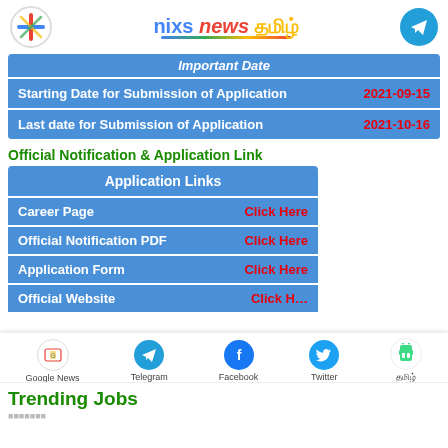nixs news தமிழ்
| Important Date |  |
| --- | --- |
| Starting Date for Submission of Application | 2021-09-15 |
| Last date for Submission of Application | 2021-10-16 |
Official Notification & Application Link
| Application Links |  |
| --- | --- |
| Career Page | Click Here |
| Official Notification PDF | Click Here |
| Application Form | Click Here |
| Official Website | Click Here |
Google News | Telegram | Facebook | Twitter | தமிழ்
Trending Jobs